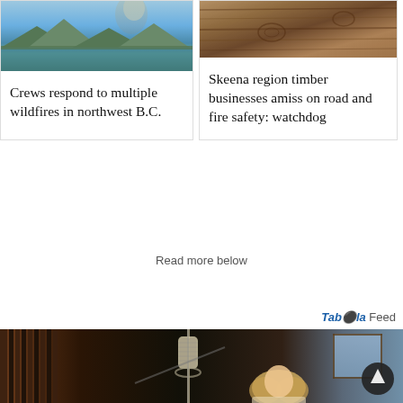[Figure (photo): Lake or water scene with mountains and smoke in background, top portion of news article card on left]
Crews respond to multiple wildfires in northwest B.C.
[Figure (photo): Close-up photo of what appears to be tree bark or timber, top portion of news article card on right]
Skeena region timber businesses amiss on road and fire safety: watchdog
Read more below
Taboola Feed
[Figure (photo): Woman with blonde hair singing in a recording studio with a large condenser microphone in the foreground, studio equipment visible in background]